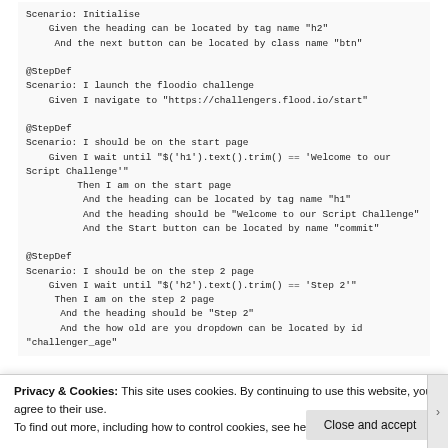Scenario: Initialise
    Given the heading can be located by tag name "h2"
     And the next button can be located by class name "btn"

@StepDef
Scenario: I launch the floodio challenge
    Given I navigate to "https://challengers.flood.io/start"

@StepDef
Scenario: I should be on the start page
    Given I wait until "$('h1').text().trim() == 'Welcome to our Script Challenge'"
         Then I am on the start page
          And the heading can be located by tag name "h1"
          And the heading should be "Welcome to our Script Challenge"
          And the Start button can be located by name "commit"

@StepDef
Scenario: I should be on the step 2 page
    Given I wait until "$('h2').text().trim() == 'Step 2'"
     Then I am on the step 2 page
      And the heading should be "Step 2"
      And the how old are you dropdown can be located by id "challenger_age"
Privacy & Cookies: This site uses cookies. By continuing to use this website, you agree to their use.
To find out more, including how to control cookies, see here: Cookie Policy